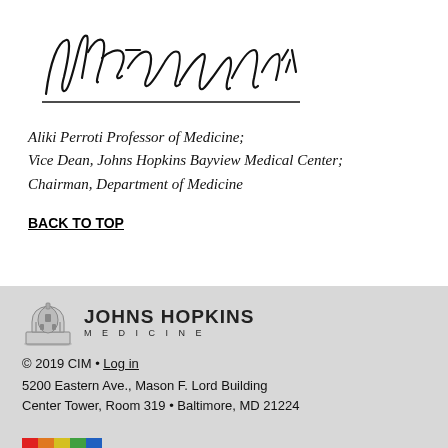[Figure (illustration): Handwritten signature: David B. Hellmann, M.D.]
Aliki Perroti Professor of Medicine;
Vice Dean, Johns Hopkins Bayview Medical Center;
Chairman, Department of Medicine
BACK TO TOP
[Figure (logo): Johns Hopkins Medicine logo with dome icon]
© 2019 CIM • Log in
5200 Eastern Ave., Mason F. Lord Building
Center Tower, Room 319 • Baltimore, MD 21224